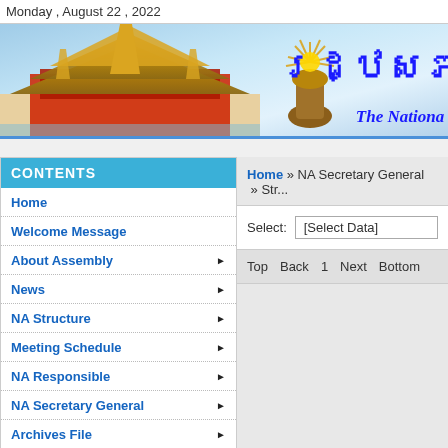Monday , August 22 , 2022
[Figure (illustration): Banner with Cambodian National Assembly building/temple illustration on the left and Khmer/English text on the right showing the National Assembly website header]
Home
Welcome Message
About Assembly
News
NA Structure
Meeting Schedule
NA Responsible
NA Secretary General
Archives File
Home » NA Secretary General » Str...
Select: [Select Data]
Top   Back   1   Next   Bottom